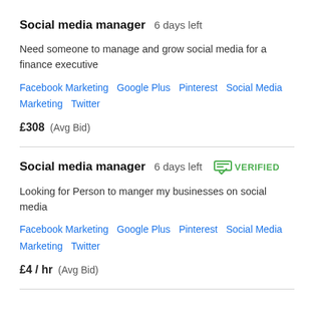Social media manager  6 days left
Need someone to manage and grow social media for a finance executive
Facebook Marketing   Google Plus   Pinterest   Social Media Marketing   Twitter
£308  (Avg Bid)
Social media manager  6 days left  VERIFIED
Looking for Person to manger my businesses on social media
Facebook Marketing   Google Plus   Pinterest   Social Media Marketing   Twitter
£4 / hr  (Avg Bid)